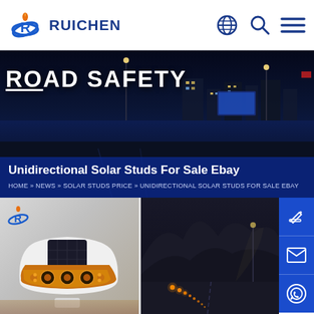RUICHEN
Unidirectional Solar Studs For Sale Ebay
ROAD SAFETY
HOME » NEWS » SOLAR STUDS PRICE » UNIDIRECTIONAL SOLAR STUDS FOR SALE EBAY
[Figure (photo): White solar road stud with orange reflectors and solar panel on top, placed on wooden surface]
[Figure (photo): Dark mountain road at night with orange solar road stud lights visible along lane markings]